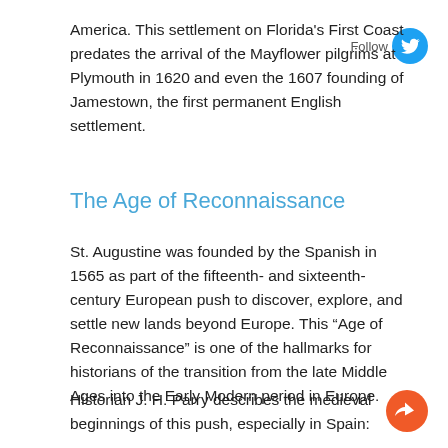America. This settlement on Florida's First Coast predates the arrival of the Mayflower pilgrims at Plymouth in 1620 and even the 1607 founding of Jamestown, the first permanent English settlement.
The Age of Reconnaissance
St. Augustine was founded by the Spanish in 1565 as part of the fifteenth- and sixteenth-century European push to discover, explore, and settle new lands beyond Europe. This “Age of Reconnaissance” is one of the hallmarks for historians of the transition from the late Middle Ages into the Early Modern period in Europe.
Historian J. H. Parry describes the medieval beginnings of this push, especially in Spain: